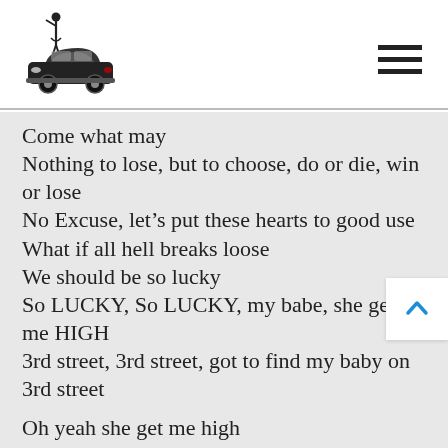[Logo: vintage car with figure] [Hamburger menu icon]
Come what may
Nothing to lose, but to choose, do or die, win or lose
No Excuse, let’s put these hearts to good use
What if all hell breaks loose
We should be so lucky
So LUCKY, So LUCKY, my babe, she get me HIGH
3rd street, 3rd street, got to find my baby on 3rd street

Oh yeah she get me high

Come what may
Nothing to lose, but to choose, do or die,